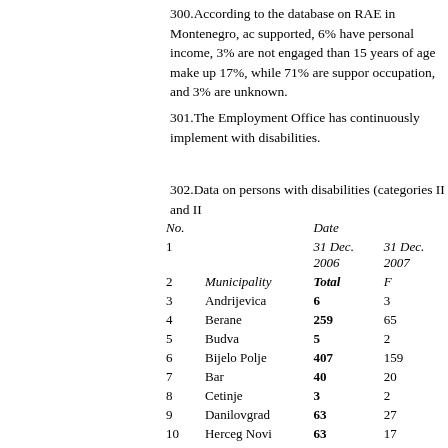300.According to the database on RAE in Montenegro, ac supported, 6% have personal income, 3% are not engage than 15 years of age make up 17%, while 71% are suppor occupation, and 3% are unknown.
301.The Employment Office has continuously implement with disabilities.
302.Data on persons with disabilities (categories II and II
| No. |  | Date |  |
| --- | --- | --- | --- |
| 1 |  | 31 Dec. 2006 | 31 Dec. 2007 |
| 2 | Municipality | Total | F |
| 3 | Andrijevica | 6 | 3 |
| 4 | Berane | 259 | 65 |
| 5 | Budva | 5 | 2 |
| 6 | Bijelo Polje | 407 | 159 |
| 7 | Bar | 40 | 20 |
| 8 | Cetinje | 3 | 2 |
| 9 | Danilovgrad | 63 | 27 |
| 10 | Herceg Novi | 63 | 17 |
| 11 | Kotor | 60 | 21 |
| 12 | Kolašin | 24 | 5 |